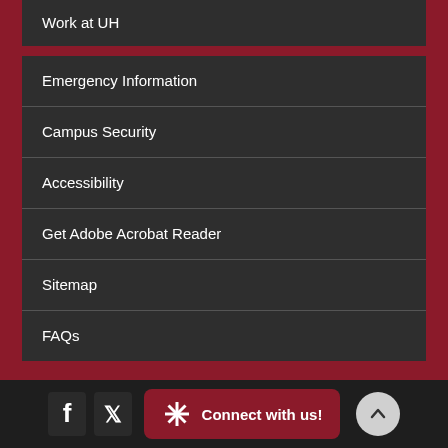Work at UH
Emergency Information
Campus Security
Accessibility
Get Adobe Acrobat Reader
Sitemap
FAQs
Connect with us!